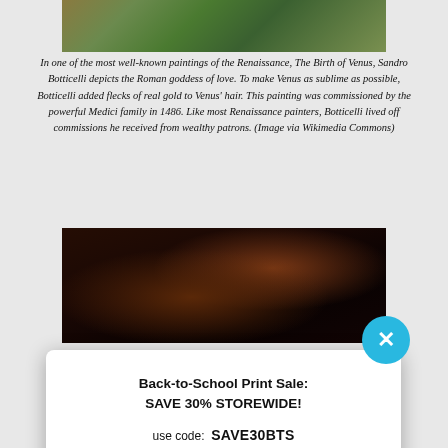[Figure (photo): Top portion of a Renaissance painting, The Birth of Venus by Botticelli, showing green and golden tones]
In one of the most well-known paintings of the Renaissance, The Birth of Venus, Sandro Botticelli depicts the Roman goddess of love. To make Venus as sublime as possible, Botticelli added flecks of real gold to Venus' hair. This painting was commissioned by the powerful Medici family in 1486. Like most Renaissance painters, Botticelli lived off commissions he received from wealthy patrons. (Image via Wikimedia Commons)
[Figure (photo): Bottom portion of a dark Renaissance painting with deep brown and red tones]
Back-to-School Print Sale: SAVE 30% STOREWIDE!
use code: SAVE30BTS
SAVE 30% NOW